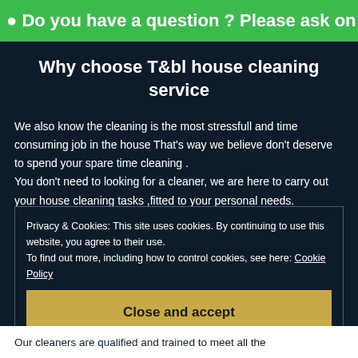Do you have a question ? Please ask on WhatsA
Why choose T&bl house cleaning service
We also know the cleaning is the most stressfull and time consuming job in the house That's way we believe don't deserve to spend your spare time cleaning .
You don't need to looking for a cleaner, we are here to carry out your house cleaning tasks ,fitted to your personal needs.
Privacy & Cookies: This site uses cookies. By continuing to use this website, you agree to their use.
To find out more, including how to control cookies, see here: Cookie Policy
Close and accept
Our cleaners are qualified and trained to meet all the